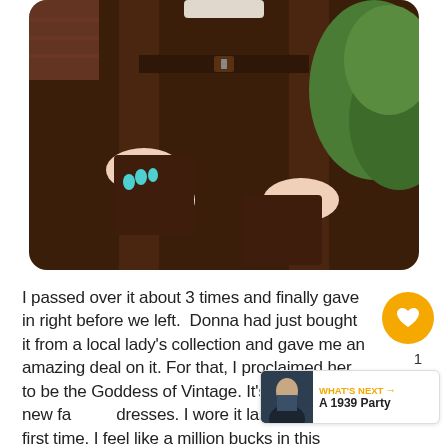[Figure (photo): Close-up photo of a person wearing a brown vintage dress with white buttons on the pockets and a brown belt. Hands are visible pulling open the pockets, showing teal/blue painted nails. Green bushes visible in background.]
I passed over it about 3 times and finally gave in right before we left. Donna had just bought it from a local lady's collection and gave me an amazing deal on it. For that, I proclaimed her to be the Goddess of Vintage. It's one of my new favorite dresses. I wore it last night for the first time. I feel like a million bucks in this dress!!